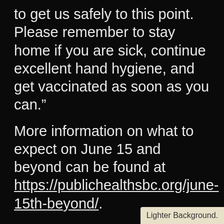to get us safely to this point. Please remember to stay home if you are sick, continue excellent hand hygiene, and get vaccinated as soon as you can.”
More information on what to expect on June 15 and beyond can be found at https://publichealthsbc.org/june-15th-beyond/.
Stay Connected:
County Public Health: www.PublicHealthSBC.org, Twitter and Facebook
Lighter Background.